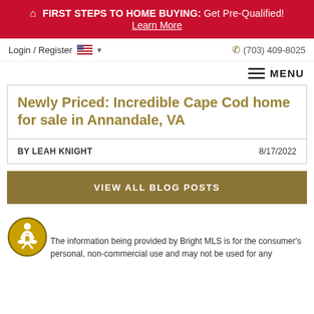FIRST STEPS TO HOME BUYING: Get Pre-Qualified! Learn More
Login / Register  (703) 409-8025
MENU
Newly Priced: Incredible Cape Cod home for sale in Annandale, VA
BY LEAH KNIGHT  8/17/2022
VIEW ALL BLOG POSTS
The information being provided by Bright MLS is for the consumer's personal, non-commercial use and may not be used for any